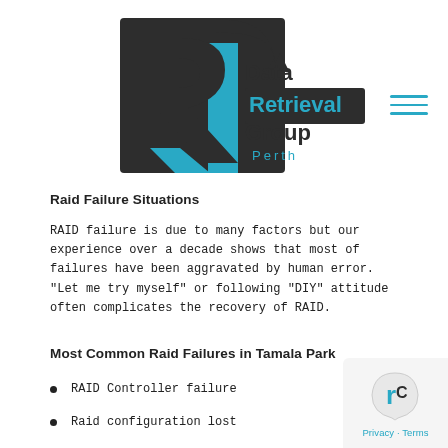[Figure (logo): Data Retrieval Group Perth logo — stylized dark letter R with cyan/blue accent and arrow, with company name text beside it]
Raid Failure Situations
RAID failure is due to many factors but our experience over a decade shows that most of failures have been aggravated by human error. “Let me try myself” or following “DIY” attitude often complicates the recovery of RAID.
Most Common Raid Failures in Tamala Park
RAID Controller failure
Raid configuration lost